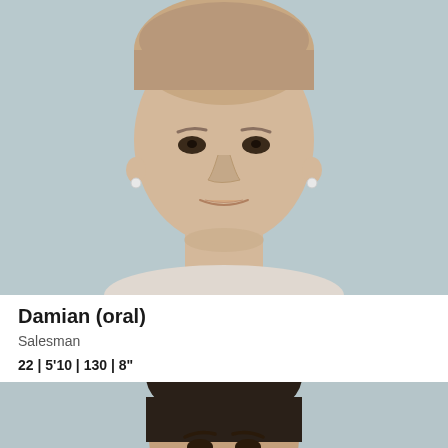[Figure (photo): Headshot photo of a young man with light skin, short hair, and earrings on a light blue-grey background, cropped at the shoulders]
Damian (oral)
Salesman
22 | 5'10 | 130 | 8"
[Figure (photo): Headshot photo of another man with dark hair on a light background, cropped at the top of the frame]